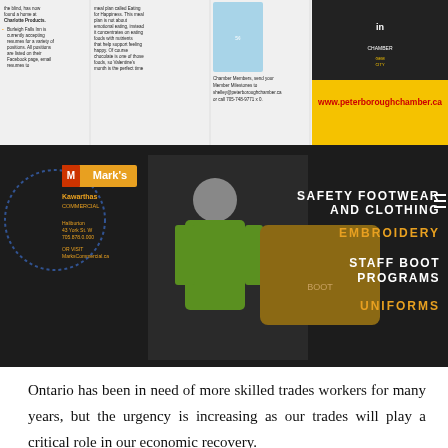[Figure (advertisement): Top strip with small text columns about Charlotte Products and Burleigh Falls positions, chamber membership info, and peterboroughchamber.ca URL. Also includes Mark's Work Wearhouse/Kawarthas ad banner for safety footwear, clothing, embroidery, staff boot programs, uniforms.]
Ontario has been in need of more skilled trades workers for many years, but the urgency is increasing as our trades will play a critical role in our economic recovery.
Despite the pandemic and all of the supply chain issues, increases in material costs, and other disruptions it has brought, a lack of skilled labourers could be the biggest barrier ahead for the construction